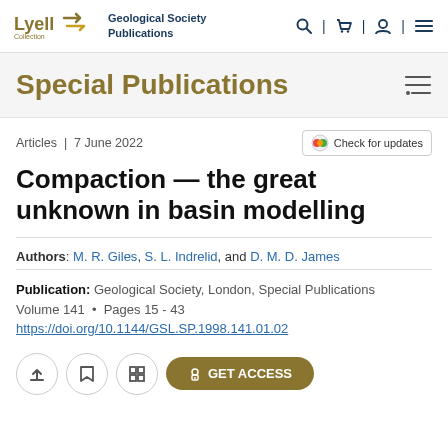Lyell Collection | Geological Society Publications
Special Publications
Articles | 7 June 2022
Compaction — the great unknown in basin modelling
Authors: M. R. Giles, S. L. Indrelid, and D. M. D. James
Publication: Geological Society, London, Special Publications
Volume 141 • Pages 15 - 43
https://doi.org/10.1144/GSL.SP.1998.141.01.02